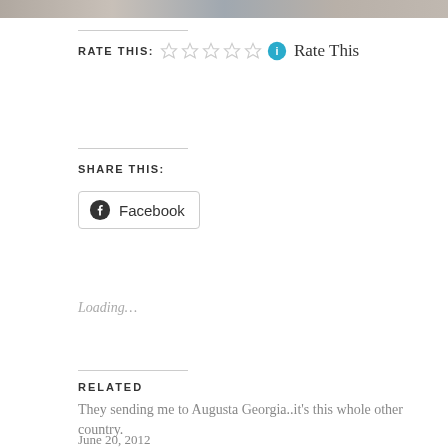[Figure (photo): Partial photo strip at top of page, mostly cropped out]
RATE THIS: ☆☆☆☆☆ ℹ Rate This
SHARE THIS:
Facebook
Loading...
RELATED
They sending me to Augusta Georgia..it's this whole other country.
June 20, 2012
With 1 comment
To Baltimore: Getting the...